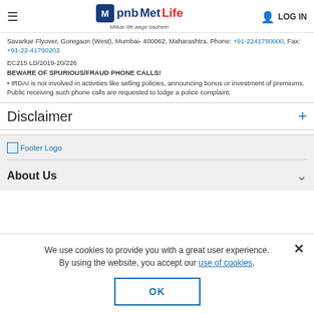PNB MetLife - Milkar life aage badhein - LOG IN
Savarkar Flyover, Goregaon (West), Mumbai- 400062, Maharashtra. Phone: +91-2241790000, Fax: +91-22-41790203
EC215 LD/2019-20/226
BEWARE OF SPURIOUS/FRAUD PHONE CALLS!
• IRDAI is not involved in activities like selling policies, announcing bonus or investment of premiums. Public receiving such phone calls are requested to lodge a police complaint.
Disclaimer +
[Figure (logo): Footer Logo placeholder image]
About Us
We use cookies to provide you with a great user experience. By using the website, you accept our use of cookies.
OK